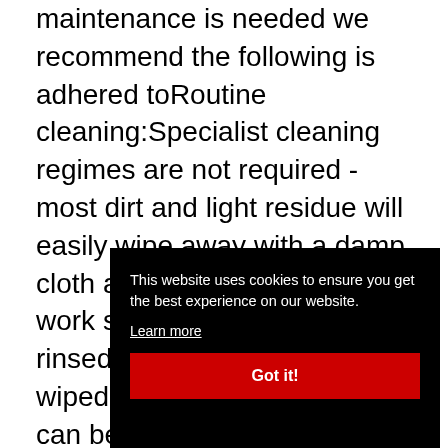maintenance is needed we recommend the following is adhered toRoutine cleaning:Specialist cleaning regimes are not required - most dirt and light residue will easily wipe away with a damp cloth and soapy water. The work surface should then be rinsed with clean water and wiped dryPersistent marks can be removed by using a mild-abrasive cleaner, but harsh scouring powders should be avoided. If in doubt, consult the care and maintenance guideHeat:Maia ÄöyÑyø àöÿë àö¬•s surf alte othe plac prev cont splashes do not harm the surfaceStaining:Unlike
This website uses cookies to ensure you get the best experience on our website.
Learn more
Got it!